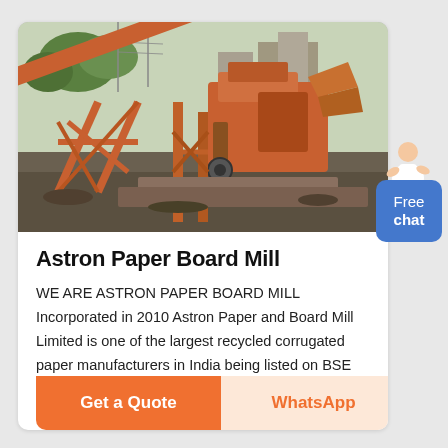[Figure (photo): Industrial machinery / conveyor belt system with orange steel structure at a paper mill or quarry site. Heavy equipment in outdoor setting with buildings and vegetation in background.]
Astron Paper Board Mill
WE ARE ASTRON PAPER BOARD MILL Incorporated in 2010 Astron Paper and Board Mill Limited is one of the largest recycled corrugated paper manufacturers in India being listed on BSE and NSE by way of initial
Get a Quote
WhatsApp
Free chat